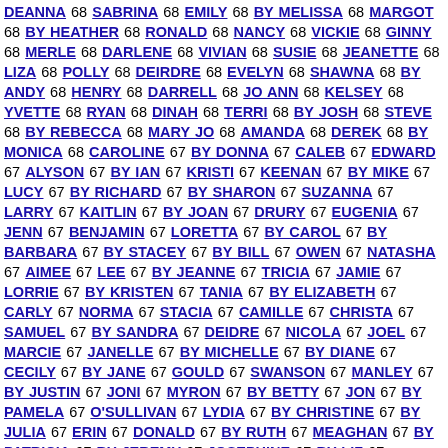DEANNA 68 SABRINA 68 EMILY 68 BY MELISSA 68 MARGOT 68 BY HEATHER 68 RONALD 68 NANCY 68 VICKIE 68 GINNY 68 MERLE 68 DARLENE 68 VIVIAN 68 SUSIE 68 JEANETTE 68 LIZA 68 POLLY 68 DEIRDRE 68 EVELYN 68 SHAWNA 68 BY ANDY 68 HENRY 68 DARRELL 68 JO ANN 68 KELSEY 68 YVETTE 68 RYAN 68 DINAH 68 TERRI 68 BY JOSH 68 STEVE 68 BY REBECCA 68 MARY JO 68 AMANDA 68 DEREK 68 BY MONICA 68 CAROLINE 67 BY DONNA 67 CALEB 67 EDWARD 67 ALYSON 67 BY IAN 67 KRISTI 67 KEENAN 67 BY MIKE 67 LUCY 67 BY RICHARD 67 BY SHARON 67 SUZANNA 67 LARRY 67 KAITLIN 67 BY JOAN 67 DRURY 67 EUGENIA 67 JENN 67 BENJAMIN 67 LORETTA 67 BY CAROL 67 BY BARBARA 67 BY STACEY 67 BY BILL 67 OWEN 67 NATASHA 67 AIMEE 67 LEE 67 BY JEANNE 67 TRICIA 67 JAMIE 67 LORRIE 67 BY KRISTEN 67 TANIA 67 BY ELIZABETH 67 CARLY 67 NORMA 67 STACIA 67 CAMILLE 67 CHRISTA 67 SAMUEL 67 BY SANDRA 67 DEIDRE 67 NICOLA 67 JOEL 67 MARCIE 67 JANELLE 67 BY MICHELLE 67 BY DIANE 67 CECILY 67 BY JANE 67 GOULD 67 SWANSON 67 MANLEY 67 BY JUSTIN 67 JONI 67 MYRON 67 BY BETTY 67 JON 67 BY PAMELA 67 O'SULLIVAN 67 LYDIA 67 BY CHRISTINE 67 BY JULIA 67 ERIN 67 DONALD 67 BY RUTH 67 MEAGHAN 67 BY PATRICIA 67 BY JEREMY 67 JOSEPHINE 67 BY LIZ 67 CANDICE 67 GORDON 67 DUANE 67 BY ROBIN 67 ISABELLE 67 SHAWN 67 LEONA 67 BELINDA 67 CAROL